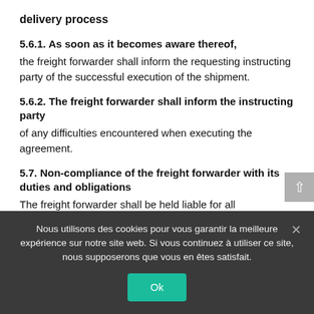delivery process
5.6.1. As soon as it becomes aware thereof,
the freight forwarder shall inform the requesting instructing party of the successful execution of the shipment.
5.6.2. The freight forwarder shall inform the instructing party
of any difficulties encountered when executing the agreement.
5.7. Non-compliance of the freight forwarder with its duties and obligations
The freight forwarder shall be held liable for all
Nous utilisons des cookies pour vous garantir la meilleure expérience sur notre site web. Si vous continuez à utiliser ce site, nous supposerons que vous en êtes satisfait.